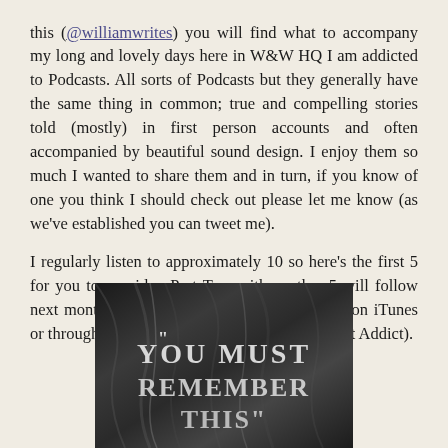this (@williamwrites) you will find what to accompany my long and lovely days here in W&W HQ I am addicted to Podcasts. All sorts of Podcasts but they generally have the same thing in common; true and compelling stories told (mostly) in first person accounts and often accompanied by beautiful sound design. I enjoy them so much I wanted to share them and in turn, if you know of one you think I should check out please let me know (as we've established you can tweet me).
I regularly listen to approximately 10 so here's the first 5 for you to consider. Part Two with another 5 will follow next month. You can find all of these podcasts on iTunes or through your trusty Podcast app (I use Podcast Addict).
[Figure (illustration): Black and white podcast cover art showing draped fabric with text reading 'You Must Remember This' in stylized lettering]